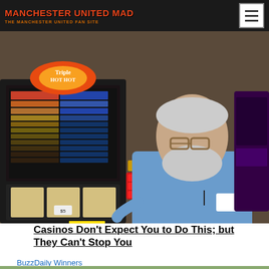MANCHESTER UNITED MAD
[Figure (photo): Elderly man with white beard leaning on a slot machine (Triple Hot Red Hot) in a casino setting]
Casinos Don't Expect You to Do This; but They Can't Stop You
BuzzDaily Winners
[Figure (photo): Partial view of a second image, bottom strip visible – appears to show food or a green plate]